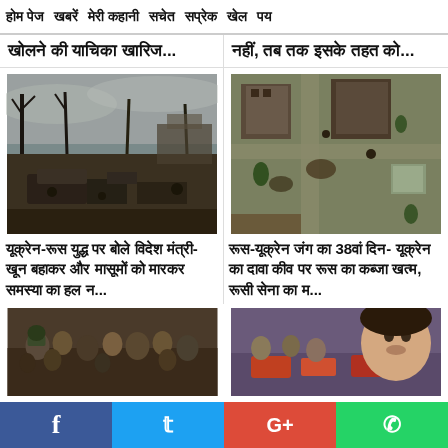होम पेज   खबरें   मेरी कहानी   सचेत   सप्रेक   खेल   पय
खोलने की याचिका खारिज...
नहीं, तब तक इसके तहत को...
[Figure (photo): War destruction scene - burned out vehicles and destroyed buildings with bare trees in winter]
[Figure (photo): Aerial view of war-damaged town with destroyed buildings and craters]
यूक्रेन-रूस युद्ध पर बोले विदेश मंत्री- खून बहाकर और मासूमों को मारकर समस्या का हल न...
रूस-यूक्रेन जंग का 38वां दिन- यूक्रेन का दावा कीव पर रूस का कब्जा खत्म, रूसी सेना का म...
[Figure (photo): Crowd scene with people gathered]
[Figure (photo): Crowd scene with person's face visible]